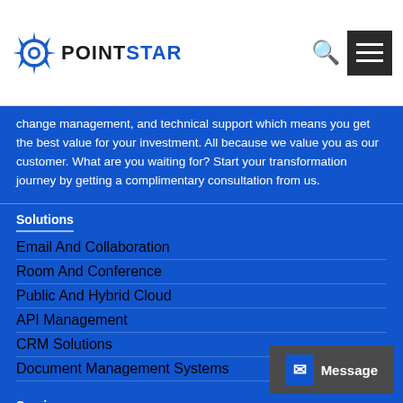[Figure (logo): PointStar logo with blue star/sun icon and bold POINTSTAR text]
change management, and technical support which means you get the best value for your investment. All because we value you as our customer. What are you waiting for? Start your transformation journey by getting a complimentary consultation from us.
Solutions
Email And Collaboration
Room And Conference
Public And Hybrid Cloud
API Management
CRM Solutions
Document Management Systems
Services
Cloud Migration
Data Analytics